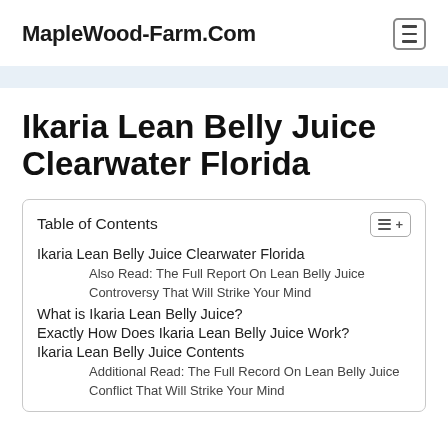MapleWood-Farm.Com
Ikaria Lean Belly Juice Clearwater Florida
| Table of Contents |
| --- |
| Ikaria Lean Belly Juice Clearwater Florida |
| Also Read: The Full Report On Lean Belly Juice Controversy That Will Strike Your Mind |
| What is Ikaria Lean Belly Juice? |
| Exactly How Does Ikaria Lean Belly Juice Work? |
| Ikaria Lean Belly Juice Contents |
| Additional Read: The Full Record On Lean Belly Juice Conflict That Will Strike Your Mind |